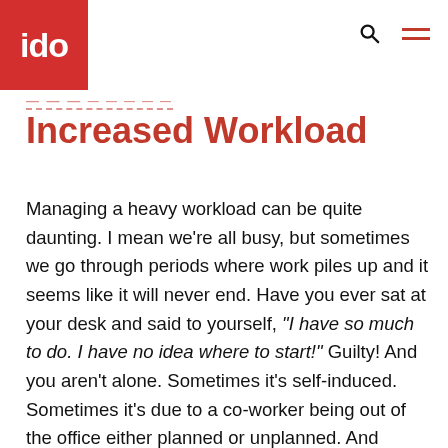ido
Increased Workload
Managing a heavy workload can be quite daunting. I mean we're all busy, but sometimes we go through periods where work piles up and it seems like it will never end. Have you ever sat at your desk and said to yourself, "I have so much to do. I have no idea where to start!" Guilty! And you aren't alone. Sometimes it's self-induced. Sometimes it's due to a co-worker being out of the office either planned or unplanned. And sometimes, plain and simple, there aren't enough hands to get the work done. But how you manage